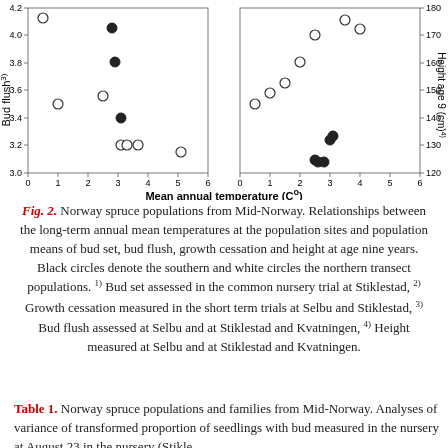[Figure (scatter-plot): Two scatter plots side by side. Left: Bud flush (y-axis 3.0–4.2) vs Mean annual temperature (x-axis 0–6). Right: Height age 9 cm (y-axis 120–180+) vs Mean annual temperature (x-axis 0–6). Black circles = southern transect populations, white/open circles = northern transect populations.]
Fig. 2. Norway spruce populations from Mid-Norway. Relationships between the long-term annual mean temperatures at the population sites and population means of bud set, bud flush, growth cessation and height at age nine years. Black circles denote the southern and white circles the northern transect populations. 1) Bud set assessed in the common nursery trial at Stiklestad, 2) Growth cessation measured in the short term trials at Selbu and Stiklestad, 3) Bud flush assessed at Selbu and at Stiklestad and Kvatningen, 4) Height measured at Selbu and at Stiklestad and Kvatningen.
Table 1. Norway spruce populations and families from Mid-Norway. Analyses of variance of transformed proportion of seedlings with bud measured in the nursery at August 23 in the nursery (Stiklestad).